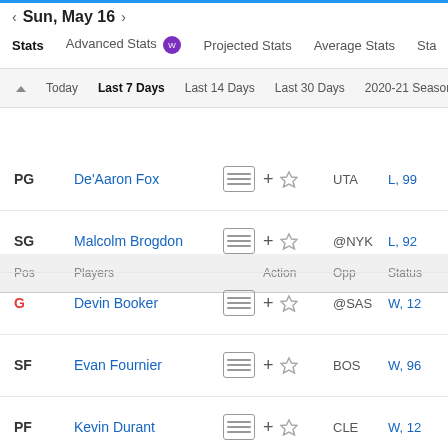< Sun, May 16 >
Stats   Advanced Stats   Projected Stats   Average Stats   Sta
Today   Last 7 Days   Last 14 Days   Last 30 Days   2020-21 Season   2019-
| Pos | Players | Action | Opp | Status |
| --- | --- | --- | --- | --- |
| PG | De'Aaron Fox | + ☆ | UTA | L, 99 |
| SG | Malcolm Brogdon | + ☆ | @NYK | L, 92 |
| G | Devin Booker | + ☆ | @SAS | W, 12 |
| SF | Evan Fournier | + ☆ | BOS | W, 96 |
| PF | Kevin Durant | + ☆ | CLE | W, 12 |